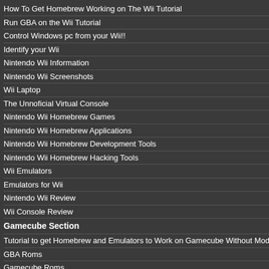How To Get Homebrew Working on The Wii Tutorial
Run GBA on the Wii Tutorial
Control Windows pc from your Wii!!
Identify your Wii
Nintendo Wii Information
Nintendo Wii Screenshots
Wii Laptop
The Unnoficial Virtual Console
Nintendo Wii Homebrew Games
Nintendo Wii Homebrew Applications
Nintendo Wii Homebrew Development Tools
Nintendo Wii Homebrew Hacking Tools
Wii Emulators
Emulators for Wii
Nintendo Wii Review
Wii Console Review
Gamecube Section
Tutorial to get Homebrew and Emulators to Work on Gamecube Without Modding
GBA Roms
Gamecube Roms
Nintendo DS Review
GBA Emulator FAQ
Gamecube Emulator FAQ Gamecube Emulators
[Figure (photo): Advertisement image showing a red background with 'Free Gift' text and 'Support for PS1/N' text, product image of a gaming accessory]
Buy on AliExpress.com
'Play As You Are' campaign can "explore their interests"
September 19th, 2012, 22:34 Posted By: wrag
Consumers in the United States will soon see a wide array of games and entertainment options available for Nintendo systems. On Oct. 1, Nintendo of America will launch a campaign to show how all kinds of women and young girls can enjoy using the portable Nintendo 3DS – whether they... Dianna Agron (of Fox's Glee), Sarah Hyland (of ABC's ...), and Gabrielle Douglas are teaming up with Nintendo to show female players with fun, creative ways to challe...
Each of the three celebrities participating in the Nintendo 3DS engage their respective interests...
Gabrielle Douglas became a household name leading the women's gymnastics team at the 2012 Olympics, and is going for a different kind of gold in New Super Mario ... that challenges players to collect mountains of ... and fun multiplayer options.